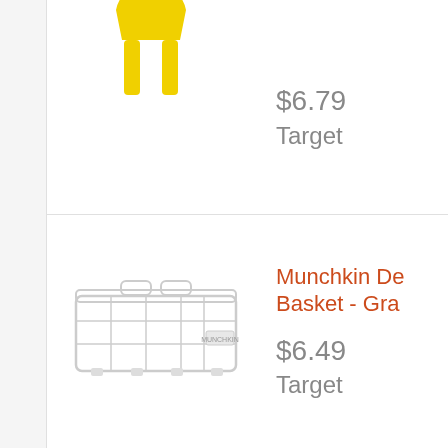[Figure (photo): Partial view of a yellow clip/hanger product at top of page]
$6.79
Target
[Figure (photo): Munchkin dishwasher basket, gray/clear plastic grid basket]
Munchkin De Basket - Gra
$6.49
Target
[Figure (photo): Itzy Ritzy Ring Teether with fox face, blue ring with orange fox charm]
Itzy Ritzy Rin Teether - Ora
$6.29
Target